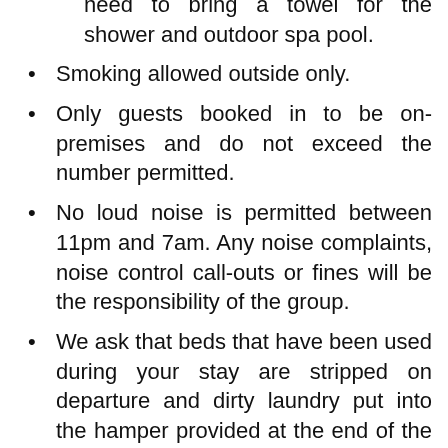need to bring a towel for the shower and outdoor spa pool.
Smoking allowed outside only.
Only guests booked in to be on-premises and do not exceed the number permitted.
No loud noise is permitted between 11pm and 7am. Any noise complaints, noise control call-outs or fines will be the responsibility of the group.
We ask that beds that have been used during your stay are stripped on departure and dirty laundry put into the hamper provided at the end of the hallway.
Please make sure to do the dishes